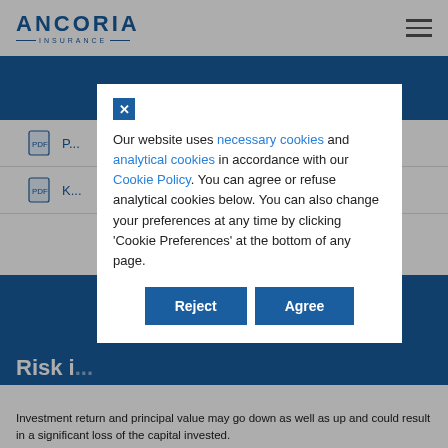ANCORIA INSURANCE
[Figure (screenshot): Cookie consent modal overlay on Ancoria Insurance website. Modal contains close button (X), text about cookies policy with links to 'necessary cookies', 'analytical cookies', and 'Cookie Policy', with Reject and Agree buttons.]
Our website uses necessary cookies and analytical cookies in accordance with our Cookie Policy. You can agree or refuse analytical cookies below. You can also change your preferences at any time by clicking ‘Cookie Preferences’ at the bottom of any page.
Risk i...
Investment return and principal value may go down as well as up and could result in a significant loss of the capital invested.